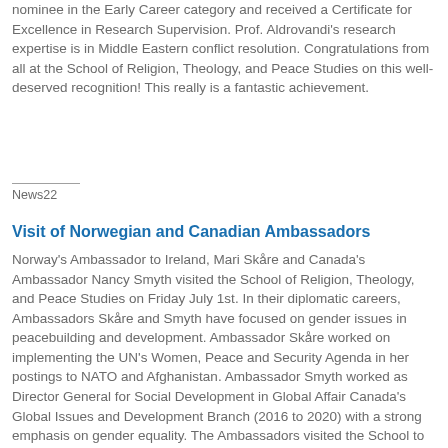nominee in the Early Career category and received a Certificate for Excellence in Research Supervision. Prof. Aldrovandi's research expertise is in Middle Eastern conflict resolution. Congratulations from all at the School of Religion, Theology, and Peace Studies on this well-deserved recognition! This really is a fantastic achievement.
News22
Visit of Norwegian and Canadian Ambassadors
Norway's Ambassador to Ireland, Mari Skåre and Canada's Ambassador Nancy Smyth visited the School of Religion, Theology, and Peace Studies on Friday July 1st. In their diplomatic careers, Ambassadors Skåre and Smyth have focused on gender issues in peacebuilding and development. Ambassador Skåre worked on implementing the UN's Women, Peace and Security Agenda in her postings to NATO and Afghanistan. Ambassador Smyth worked as Director General for Social Development in Global Affair Canada's Global Issues and Development Branch (2016 to 2020) with a strong emphasis on gender equality. The Ambassadors visited the School to learn about our research and teaching on gender and to share their insights. It was a